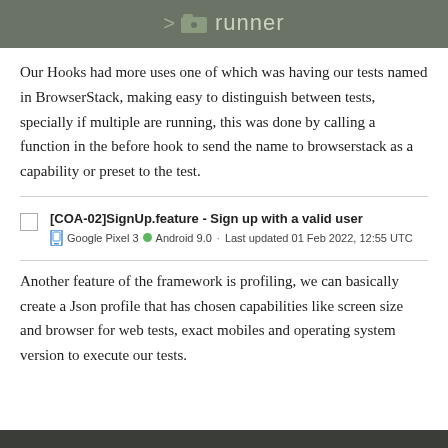[Figure (screenshot): Dark gray bar with folder icon and text 'runner' in muted green color, with a right-arrow chevron to the left of the folder icon]
Our Hooks had more uses one of which was having our tests named in BrowserStack, making easy to distinguish between tests, specially if multiple are running, this was done by calling a function in the before hook to send the name to browserstack as a capability or preset to the test.
[Figure (screenshot): Test card showing '[COA-02]SignUp.feature - Sign up with a valid user' with Google Pixel 3, Android 9.0, Last updated 01 Feb 2022, 12:55 UTC]
Another feature of the framework is profiling, we can basically create a Json profile that has chosen capabilities like screen size and browser for web tests, exact mobiles and operating system version to execute our tests.